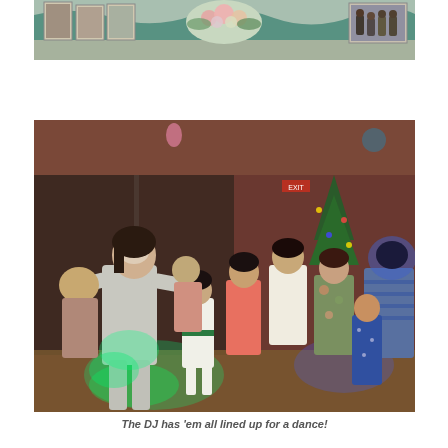[Figure (photo): Top portion of a decorated table with teal/green fabric draping, framed photos on the left side, a floral centerpiece in the middle, and a small group photo on the right side]
[Figure (photo): Indoor dance floor scene at what appears to be a wedding reception. People of various ages are dancing, lit by colorful DJ lights (green and blue). A woman in a white/grey outfit is prominent in the foreground, with several children and adults dancing behind her in a dimly lit room with warm pink/red ambient lighting.]
The DJ has 'em all lined up for a dance!